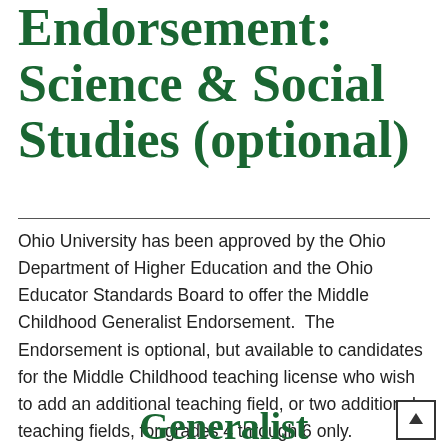Endorsement: Science & Social Studies (optional)
Ohio University has been approved by the Ohio Department of Higher Education and the Ohio Educator Standards Board to offer the Middle Childhood Generalist Endorsement.  The Endorsement is optional, but available to candidates for the Middle Childhood teaching license who wish to add an additional teaching field, or two additional teaching fields, for grades 4 through 6 only.
Generalist